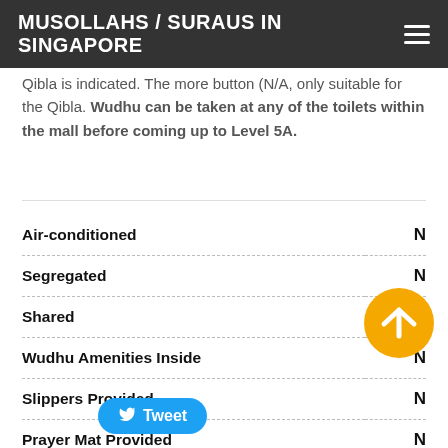MUSOLLAHS / SURAUS IN SINGAPORE
Qibla is indicated. The more button (N/A, only suitable for the Qibla. Wudhu can be taken at any of the toilets within the mall before coming up to Level 5A.
| Feature | Value |
| --- | --- |
| Air-conditioned | N |
| Segregated | N |
| Shared | Y |
| Wudhu Amenities Inside | N |
| Slippers Provided | N |
| Prayer Mat Provided | N |
| Telekung Provided | N |